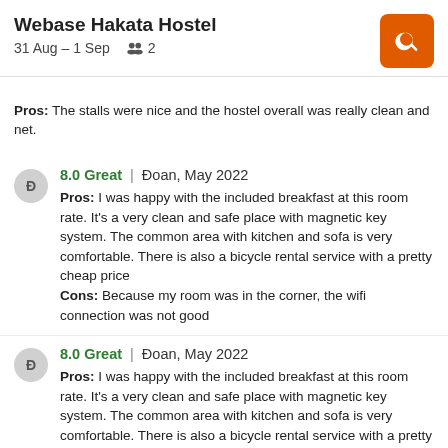Webase Hakata Hostel | 31 Aug – 1 Sep | 2 guests
Pros: The stalls were nice and the hostel overall was really clean and net.
8.0 Great | Đoan, May 2022 | Pros: I was happy with the included breakfast at this room rate. It's a very clean and safe place with magnetic key system. The common area with kitchen and sofa is very comfortable. There is also a bicycle rental service with a pretty cheap price | Cons: Because my room was in the corner, the wifi connection was not good
8.0 Great | Đoan, May 2022 | Pros: I was happy with the included breakfast at this room rate. It's a very clean and safe place with magnetic key system. The common area with kitchen and sofa is very comfortable. There is also a bicycle rental service with a pretty cheap price | Cons: Because my room was in the corner, the wifi connection was not good
10.0 Excellent | Connor, May 2022